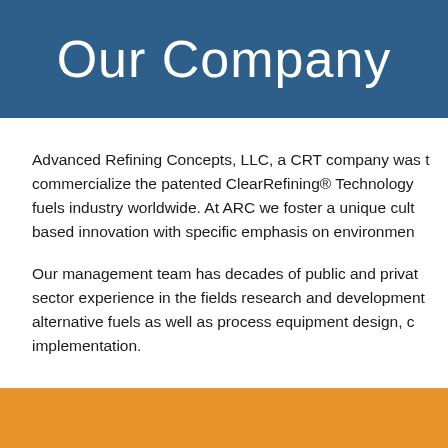Our Company
Advanced Refining Concepts, LLC, a CRT company was to commercialize the patented ClearRefining® Technology fuels industry worldwide. At ARC we foster a unique cult based innovation with specific emphasis on environmen
Our management team has decades of public and privat sector experience in the fields research and development alternative fuels as well as process equipment design, c implementation.